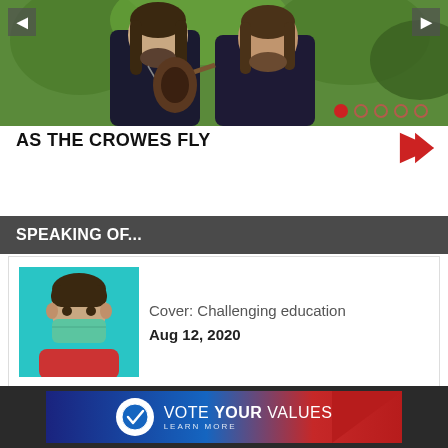[Figure (photo): Two men with long hair and beards standing together outdoors among green trees. One wears a dark pinstripe jacket with a cross necklace and holds a guitar, the other wears a dark patterned blazer. Navigation arrows visible on left and right sides. Carousel dots at bottom right.]
AS THE CROWES FLY
SPEAKING OF...
[Figure (photo): Young child wearing a teal/green surgical mask, with dark hair, against a bright turquoise background, wearing a red outfit.]
Cover: Challenging education
Aug 12, 2020
[Figure (infographic): Vote Your Values advertisement banner with circular logo containing checkmark on navy/red gradient background. Text reads VOTE YOUR VALUES with LEARN MORE below.]